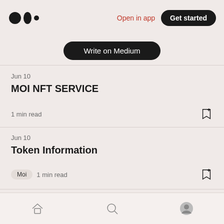Medium logo | Open in app | Get started
Write on Medium
Jun 10
MOI NFT SERVICE
1 min read
Jun 10
Token Information
Moi  1 min read
Home | Search | Profile